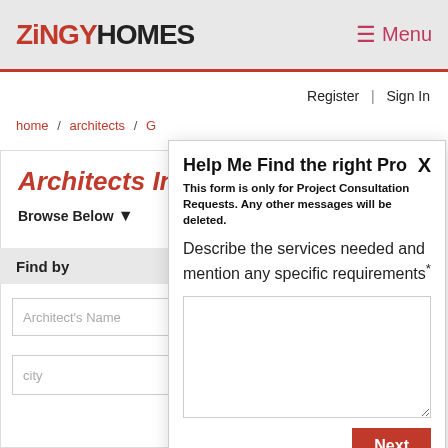ZINGY HOMES   Menu
Register | Sign In
home / architects / G
Architects In Gu
Browse Below ↓
Find by
Architect's Name
city
Help Me Find the right Pro
This form is only for Project Consultation Requests. Any other messages will be deleted.
Describe the services needed and mention any specific requirements*
Next